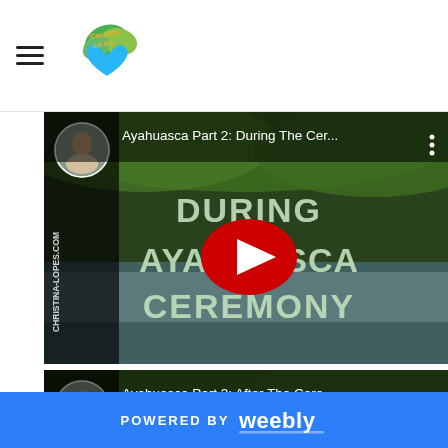[Figure (screenshot): Website header with hamburger menu icon and Corazón del Río logo]
[Figure (screenshot): YouTube video thumbnail: Ayahuasca Part 2: During The Ceremony. Shows waterfall background with large text DURING AYAHUASCA CEREMONY and a red YouTube play button. Channel icon shows a woman. Watermark: CHRISTINA-LOPES.COM]
[Figure (screenshot): YouTube video thumbnail: Ayahuasca Part 3: After The Cere... Shows waterfall background with large text AFTER. Channel icon shows a woman.]
POWERED BY weebly